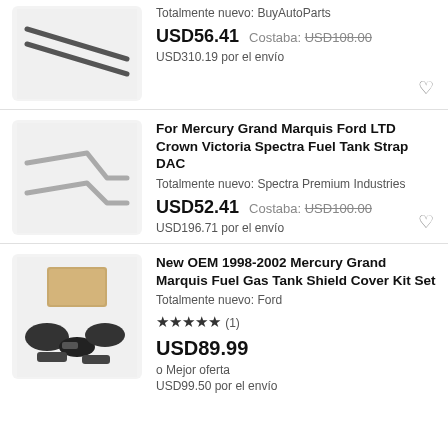[Figure (photo): Partial view of metal fuel tank straps/rods on gray background]
Totalmente nuevo: BuyAutoParts
USD56.41  Costaba: USD108.00
USD310.19 por el envío
[Figure (photo): Two bent metal fuel tank straps on gray background]
For Mercury Grand Marquis Ford LTD Crown Victoria Spectra Fuel Tank Strap DAC
Totalmente nuevo: Spectra Premium Industries
USD52.41  Costaba: USD100.00
USD196.71 por el envío
[Figure (photo): Set of black plastic fuel tank shield covers and hardware in a box]
New OEM 1998-2002 Mercury Grand Marquis Fuel Gas Tank Shield Cover Kit Set
Totalmente nuevo: Ford
★★★★★ (1)
USD89.99
o Mejor oferta
USD99.50 por el envío